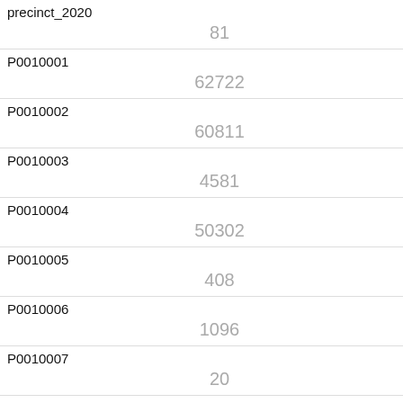| precinct_2020 |
| --- |
| 81 |
| P0010001 | 62722 |
| P0010002 | 60811 |
| P0010003 | 4581 |
| P0010004 | 50302 |
| P0010005 | 408 |
| P0010006 | 1096 |
| P0010007 | 20 |
| P0010008 | 4404 |
| P0010009 | 1911 |
| P0010010 |  |